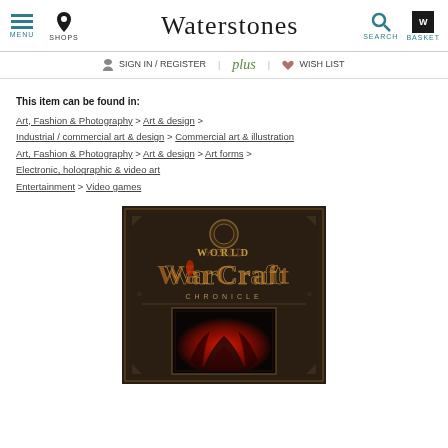Waterstones — MENU | SHOPS | SEARCH | BASKET
SIGN IN / REGISTER | plus | WISH LIST
This item can be found in:
Art, Fashion & Photography > Art & design > Industrial / commercial art & design > Commercial art & illustration
Art, Fashion & Photography > Art & design > Art forms > Electronic, holographic & video art
Entertainment > Video games
[Figure (photo): Book cover of World of WarCraft Chronicle — dark brown textured background with ornate logo text and a framed demonic figure glowing red]